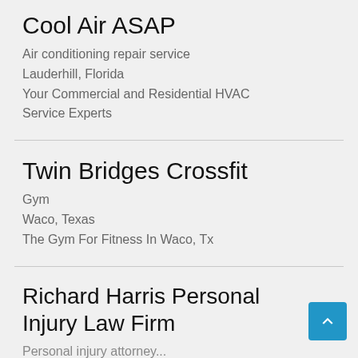Cool Air ASAP
Air conditioning repair service
Lauderhill, Florida
Your Commercial and Residential HVAC Service Experts
Twin Bridges Crossfit
Gym
Waco, Texas
The Gym For Fitness In Waco, Tx
Richard Harris Personal Injury Law Firm
Personal injury attorney